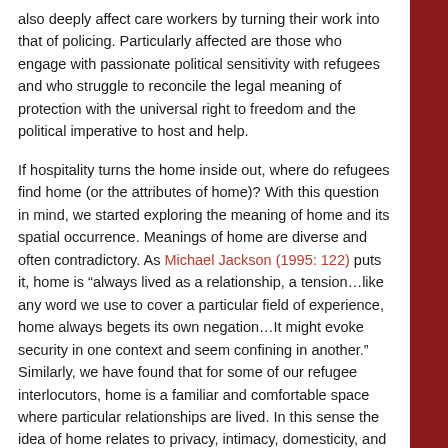also deeply affect care workers by turning their work into that of policing. Particularly affected are those who engage with passionate political sensitivity with refugees and who struggle to reconcile the legal meaning of protection with the universal right to freedom and the political imperative to host and help.
If hospitality turns the home inside out, where do refugees find home (or the attributes of home)? With this question in mind, we started exploring the meaning of home and its spatial occurrence. Meanings of home are diverse and often contradictory. As Michael Jackson (1995: 122) puts it, home is “always lived as a relationship, a tension…like any word we use to cover a particular field of experience, home always begets its own negation…It might evoke security in one context and seem confining in another.” Similarly, we have found that for some of our refugee interlocutors, home is a familiar and comfortable space where particular relationships are lived. In this sense the idea of home relates to privacy, intimacy, domesticity, and comfort according to cultural origin and context. Sometimes home is perceived as a safe, enclosed domain opposed